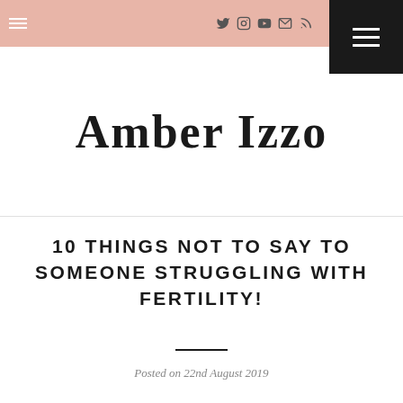Amber Izzo blog navigation bar with hamburger menu, social icons (Twitter, Instagram, YouTube, Mail, RSS), and dark menu button
Amber Izzo
10 THINGS NOT TO SAY TO SOMEONE STRUGGLING WITH FERTILITY!
Posted on 22nd August 2019